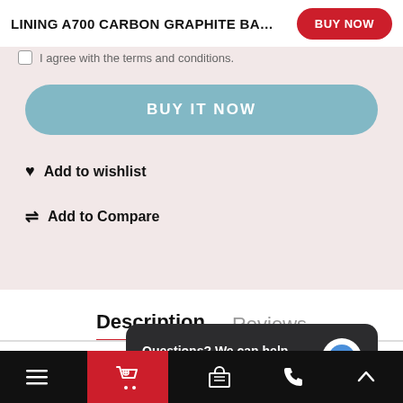LINING A700 CARBON GRAPHITE BA…
I agree with the terms and conditions.
BUY IT NOW
Add to wishlist
Add to Compare
Description
Reviews
Our website use cookies. If you continue to use this site we will assume that you are happy with this.
More about cookies: Cookies
Questions? We can help.
Chat with us now.